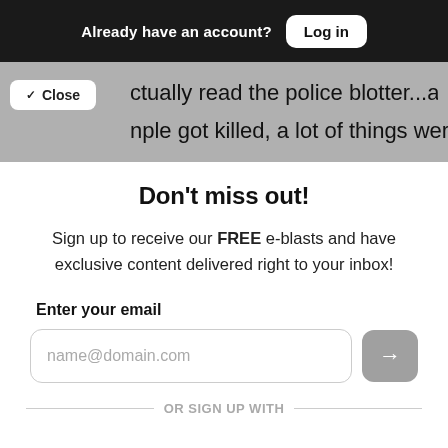Already have an account? Log in
ctually read the police blotter...about nple got killed, a lot of things were things
Don't miss out!
Sign up to receive our FREE e-blasts and have exclusive content delivered right to your inbox!
Enter your email
name@domain.com
OR SIGN UP WITH